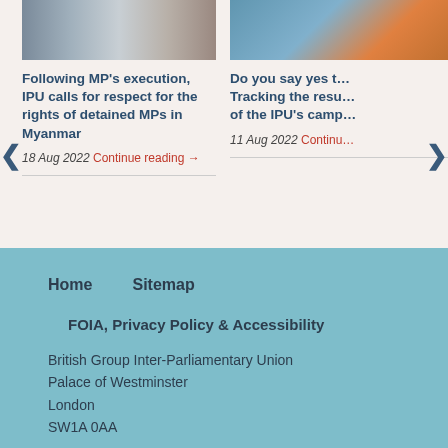[Figure (photo): Two cropped news article thumbnail photos side by side at top of page]
Following MP's execution, IPU calls for respect for the rights of detained MPs in Myanmar
18 Aug 2022  Continue reading →
Do you say yes t... Tracking the resu... of the IPU's camp...
11 Aug 2022  Continu...
Home    Sitemap
FOIA, Privacy Policy & Accessibility
British Group Inter-Parliamentary Union
Palace of Westminster
London
SW1A 0AA